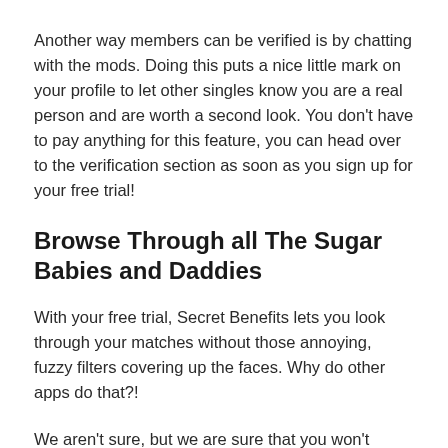Another way members can be verified is by chatting with the mods. Doing this puts a nice little mark on your profile to let other singles know you are a real person and are worth a second look. You don’t have to pay anything for this feature, you can head over to the verification section as soon as you sign up for your free trial!
Browse Through all The Sugar Babies and Daddies
With your free trial, Secret Benefits lets you look through your matches without those annoying, fuzzy filters covering up the faces. Why do other apps do that?!
We aren’t sure, but we are sure that you won’t